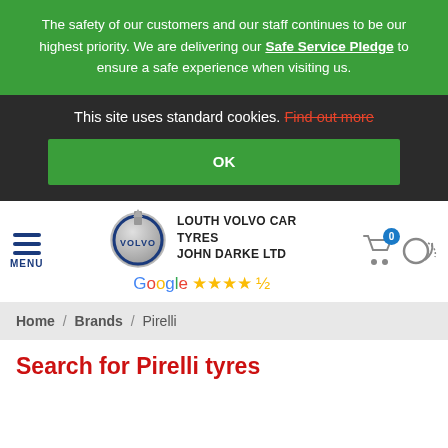The safety of our customers and our staff continues to be our highest priority. We are delivering our Safe Service Pledge to ensure a safe experience when visiting us.
This site uses standard cookies. Find out more
OK
[Figure (logo): Louth Volvo Car Tyres John Darke Ltd logo with Volvo circle badge and Google star rating (4.5 stars)]
Home / Brands / Pirelli
Search for Pirelli tyres